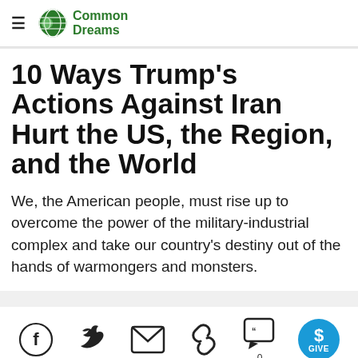Common Dreams
10 Ways Trump's Actions Against Iran Hurt the US, the Region, and the World
We, the American people, must rise up to overcome the power of the military-industrial complex and take our country's destiny out of the hands of warmongers and monsters.
[Figure (other): Social sharing icons row: Facebook, Twitter, Email, Link, Comments (0), and a blue circular GIVE button with dollar sign]